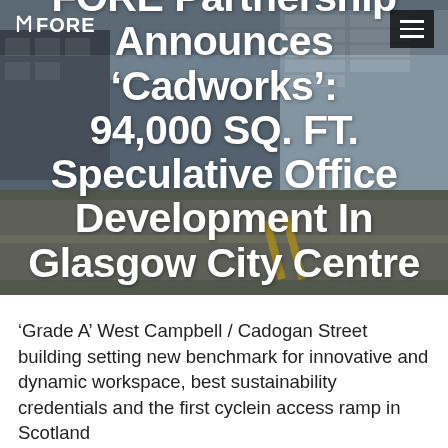[Figure (photo): Street-level urban photo of Glasgow city centre showing pedestrians crossing a road, with modern office buildings including glass facades in the background. Overlaid with large white bold text announcing the Cadworks development.]
FORE Partnership Announces 'Cadworks': 94,000 SQ. FT. Speculative Office Development In Glasgow City Centre
'Grade A' West Campbell / Cadogan Street building setting new benchmark for innovative and dynamic workspace, best sustainability credentials and the first cyclein access ramp in Scotland